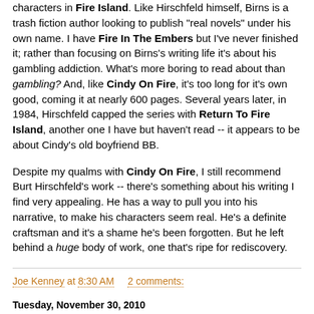characters in Fire Island. Like Hirschfeld himself, Birns is a trash fiction author looking to publish "real novels" under his own name. I have Fire In The Embers but I've never finished it; rather than focusing on Birns's writing life it's about his gambling addiction. What's more boring to read about than gambling? And, like Cindy On Fire, it's too long for it's own good, coming it at nearly 600 pages. Several years later, in 1984, Hirschfeld capped the series with Return To Fire Island, another one I have but haven't read -- it appears to be about Cindy's old boyfriend BB.
Despite my qualms with Cindy On Fire, I still recommend Burt Hirschfeld's work -- there's something about his writing I find very appealing. He has a way to pull you into his narrative, to make his characters seem real. He's a definite craftsman and it's a shame he's been forgotten. But he left behind a huge body of work, one that's ripe for rediscovery.
Joe Kenney at 8:30 AM    2 comments:
Tuesday, November 30, 2010